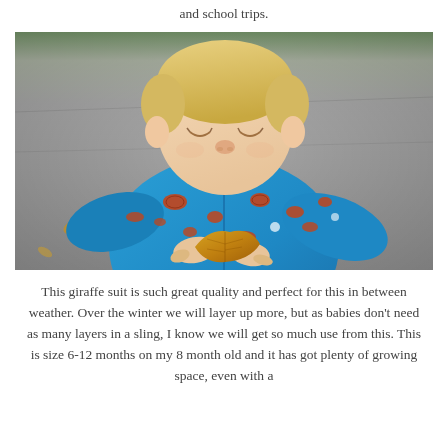and school trips.
[Figure (photo): A toddler with blonde hair wearing a bright blue hoodie with a red giraffe pattern, looking down at a yellow autumn leaf he is holding in both hands. The background is a blurred outdoor pavement scene with fallen leaves.]
This giraffe suit is such great quality and perfect for this in between weather.  Over the winter we will layer up more, but as babies don't need as many layers in a sling, I know we will get so much use from this.  This is size 6-12 months on my 8 month old and it has got plenty of growing space, even with a